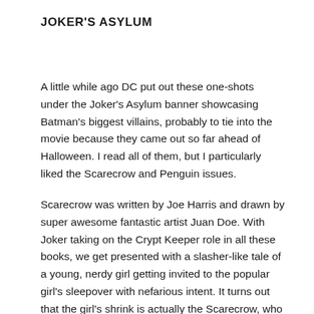JOKER'S ASYLUM
A little while ago DC put out these one-shots under the Joker's Asylum banner showcasing Batman's biggest villains, probably to tie into the movie because they came out so far ahead of Halloween. I read all of them, but I particularly liked the Scarecrow and Penguin issues.
Scarecrow was written by Joe Harris and drawn by super awesome fantastic artist Juan Doe. With Joker taking on the Crypt Keeper role in all these books, we get presented with a slasher-like tale of a young, nerdy girl getting invited to the popular girl's sleepover with nefarious intent. It turns out that the girl's shrink is actually the Scarecrow, who convinces the nerdy girl to go to the party.